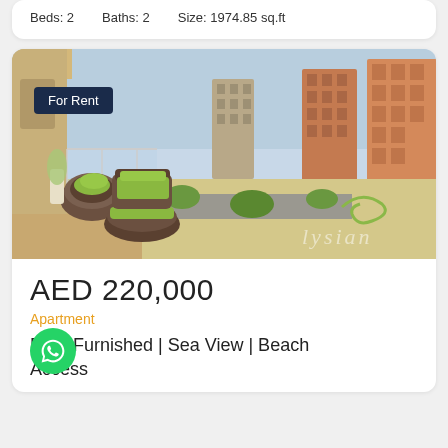Beds: 2    Baths: 2    Size: 1974.85 sq.ft
[Figure (photo): Balcony view of apartment with wicker furniture and green cushions, overlooking residential buildings and landscaped grounds. 'For Rent' badge overlay. Elysian watermark bottom right.]
AED 220,000
Apartment
Fully Furnished | Sea View | Beach Access